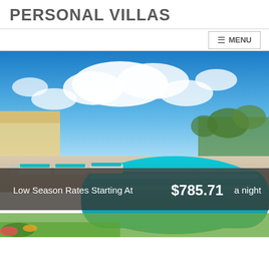PERSONAL VILLAS
MENU
[Figure (photo): Villa with a large swimming pool, lounge chairs with teal cushions, tropical landscaping, and blue sky with white clouds.]
Low Season Rates Starting At $785.71 a night